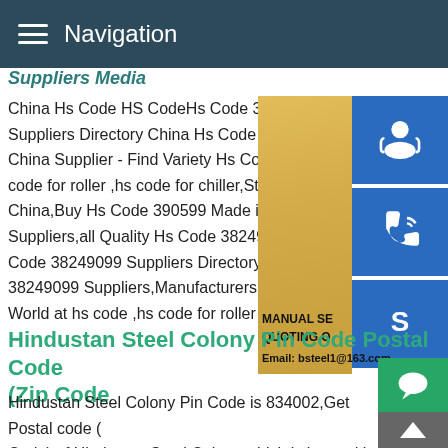Navigation
Suppliers Media
China Hs Code HS CodeHs Code 390599 Suppliers Directory China Hs Code 39059 China Supplier - Find Variety Hs Code 390 code for roller ,hs code for chiller,Steel Sh China,Buy Hs Code 390599 Made in Chin Suppliers,all Quality Hs Code 38249099 H Code 38249099 Suppliers Directory - Find 38249099 Suppliers,Manufacturers,Comp World at hs code ,hs code for roller ,hs co
[Figure (photo): Customer service woman with headset, with three blue icon buttons (headset/customer support, phone/call, Skype), and text MANUAL SE... QUOTING O... Email: bsteel1@163.com]
Hindustan Steel Colony Pin Code Postal Code (Zip Code
Hindustan Steel Colony Pin Code is 834002,Get Postal code (Zip Code) of Hindustan Steel Colony which is located in Ranchi,Zone,Jharkhand in India Monday,August 17,2020